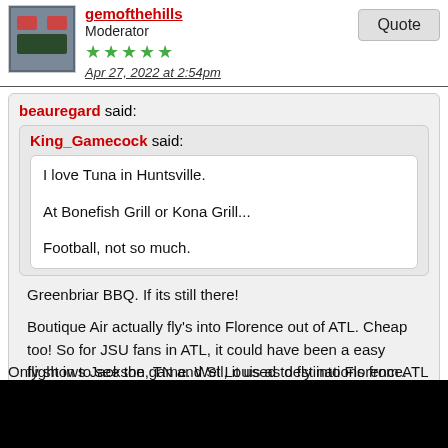gemofthehills — Moderator — Apr 27, 2022 at 2:54pm
beauregard said:
King_Gamecock said:
I love Tuna in Huntsville.
At Bonefish Grill or Kona Grill...
Football, not so much.
Greenbriar BBQ.  If its still there!
Boutique Air actually fly's into Florence out of ATL.  Cheap too!  So for JSU fans in ATL, it could have been a easy flight in to see the game.  Well, it used to fly into Florence.
A Copilot I've worked with flies one on the side for a private individual, says its very comfortable at 30,000.
Only shows Jackson, TN and St Louis as destinations from ATL